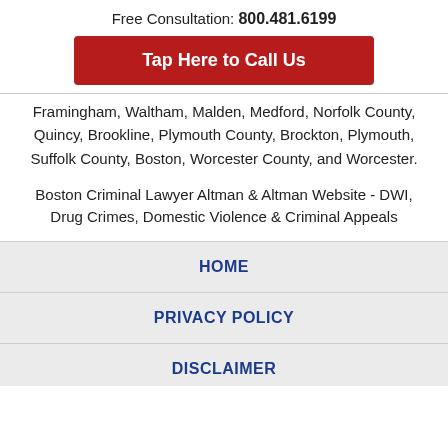Free Consultation: 800.481.6199
Tap Here to Call Us
Framingham, Waltham, Malden, Medford, Norfolk County, Quincy, Brookline, Plymouth County, Brockton, Plymouth, Suffolk County, Boston, Worcester County, and Worcester.
Boston Criminal Lawyer Altman & Altman Website - DWI, Drug Crimes, Domestic Violence & Criminal Appeals
HOME
PRIVACY POLICY
DISCLAIMER